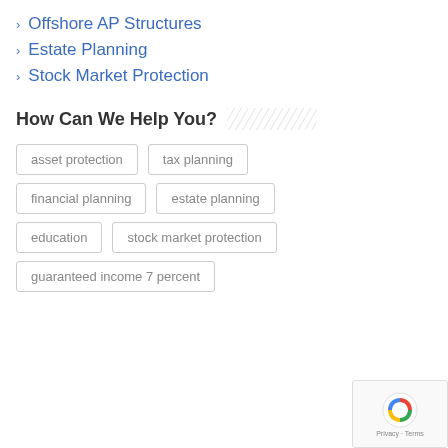Offshore AP Structures
Estate Planning
Stock Market Protection
How Can We Help You?
asset protection
tax planning
financial planning
estate planning
education
stock market protection
guaranteed income 7 percent